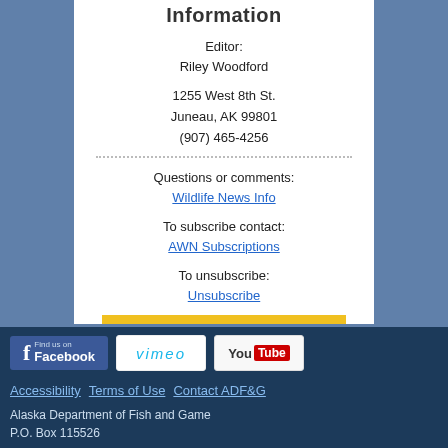Information
Editor:
Riley Woodford
1255 West 8th St.
Juneau, AK 99801
(907) 465-4256
Questions or comments:
Wildlife News Info
To subscribe contact:
AWN Subscriptions
To unsubscribe:
Unsubscribe
[Figure (logo): Find us on Facebook badge]
[Figure (logo): Vimeo badge]
[Figure (logo): YouTube badge]
Accessibility   Terms of Use   Contact ADF&G
Alaska Department of Fish and Game
P.O. Box 115526